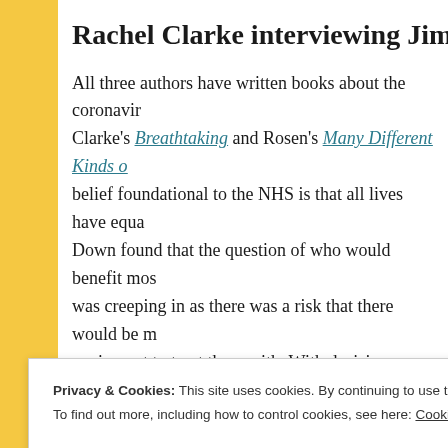Rachel Clarke interviewing Jim Down a
All three authors have written books about the coronavir... Clarke's Breathtaking and Rosen's Many Different Kinds o... belief foundational to the NHS is that all lives have equa... Down found that the question of who would benefit mos... was creeping in as there was a risk that there would be m... equipment to treat them with. With decisions needing to... hospital adopted the "three wise people" collaborative m... felt lost, however, was the patient's wishes, since they m...
Privacy & Cookies: This site uses cookies. By continuing to use this website, you agree to their use.
To find out more, including how to control cookies, see here: Cookie Policy
Close and accept